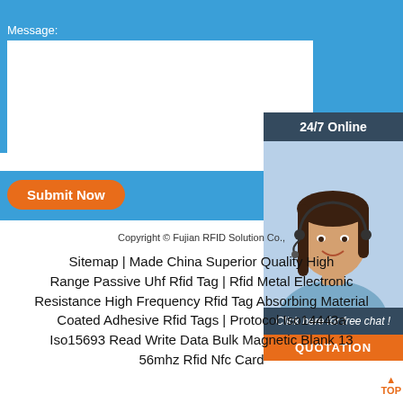Message:
[Figure (photo): Customer service representative woman with headset, smiling, with 24/7 Online header and chat widget]
Submit Now
Copyright © Fujian RFID Solution Co.,
Sitemap | Made China Superior Quality High Range Passive Uhf Rfid Tag | Rfid Metal Electronic Resistance High Frequency Rfid Tag Absorbing Material Coated Adhesive Rfid Tags | Protocol Iso14443a Iso15693 Read Write Data Bulk Magnetic Blank 13 56mhz Rfid Nfc Card